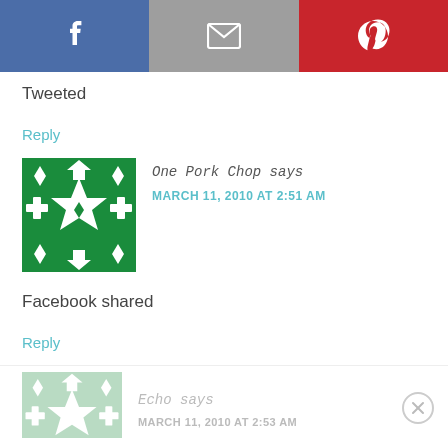[Figure (other): Social share bar with Facebook (blue), Email (grey), and Pinterest (red) icons]
Tweeted
Reply
[Figure (illustration): Green and white geometric avatar for One Pork Chop]
One Pork Chop says
MARCH 11, 2010 AT 2:51 AM
Facebook shared
Reply
[Figure (illustration): Faded green and white geometric avatar for Echo (partially visible at bottom)]
Echo says
MARCH 11, 2010 AT 2:53 AM